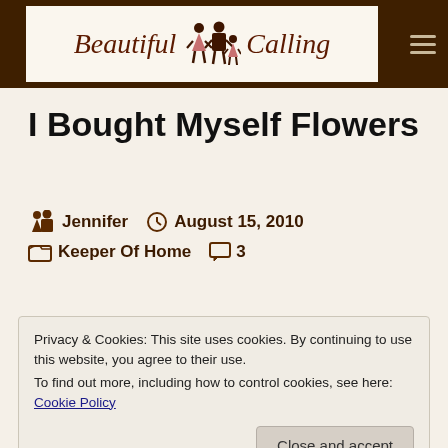Beautiful Calling
I Bought Myself Flowers
Jennifer  August 15, 2010  Keeper Of Home  3
Privacy & Cookies: This site uses cookies. By continuing to use this website, you agree to their use.
To find out more, including how to control cookies, see here: Cookie Policy
Close and accept